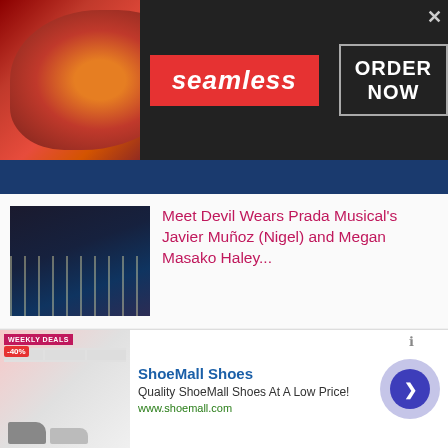[Figure (screenshot): Seamless food delivery advertisement banner with pizza image, red Seamless logo, and ORDER NOW button in white border box on dark background]
[Figure (screenshot): Article thumbnail: performers on dark stage with candlelight for Devil Wears Prada Musical]
Meet Devil Wears Prada Musical's Javier Muñoz (Nigel) and Megan Masako Haley...
[Figure (screenshot): Article thumbnail: portrait of man with mustache in black jacket for Jesus Christ Superstar article]
Meet Jesus Christ Superstar's Paul Louis Lessard; currently on stage
We use cookies.
Yes, we use cookies to ensure we give you the best experience using this website.
By closing this box or clicking on the continue button, you agree to our terms of use and consent to the use of
[Figure (screenshot): ShoeMall Shoes advertisement banner with shoe images, Weekly Deals badge, title, description and website URL]